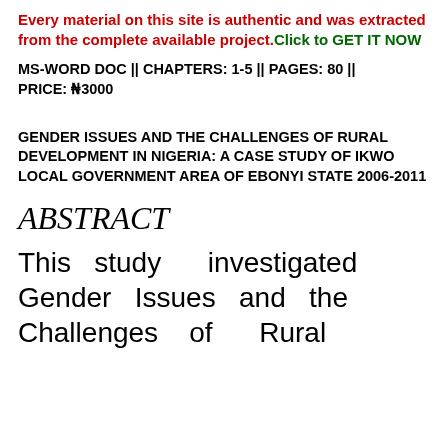Every material on this site is authentic and was extracted from the complete available project.Click to GET IT NOW
MS-WORD DOC || CHAPTERS: 1-5 || PAGES: 80 || PRICE: ₦3000
GENDER ISSUES AND THE CHALLENGES OF RURAL DEVELOPMENT IN NIGERIA: A CASE STUDY OF IKWO LOCAL GOVERNMENT AREA OF EBONYI STATE 2006-2011
ABSTRACT
This study investigated Gender Issues and the Challenges of Rural